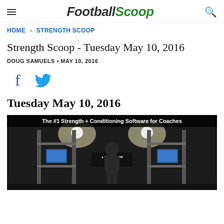FootballScoop
HOME › STRENGTH SCOOP
Strength Scoop - Tuesday May 10, 2016
DOUG SAMUELS • MAY 10, 2016
[Figure (other): Facebook and Twitter social share icons]
Tuesday May 10, 2016
[Figure (photo): Black and white photo of a person in a gym with strength and conditioning equipment. Banner text reads: The #1 Strength + Conditioning Software for Coaches. TeamBuildr logo visible on equipment.]